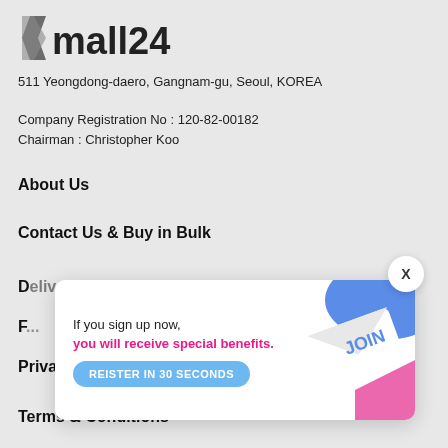[Figure (logo): kmall24 logo with stylized K arrow and bold text]
511 Yeongdong-daero, Gangnam-gu, Seoul, KOREA
Company Registration No : 120-82-00182
Chairman : Christopher Koo
About Us
Contact Us & Buy in Bulk
D...
F...
Privacy Policy
Terms & Conditions
[Figure (infographic): Popup banner: 'If you sign up now, you will receive special benefits.' with a blue JOIN graphic and REISTER IN 30 SECONDS button]